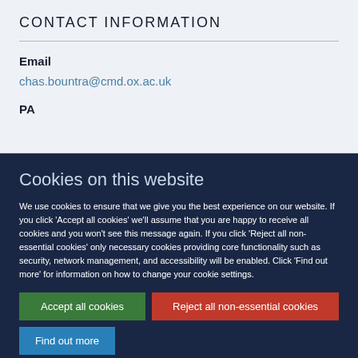CONTACT INFORMATION
Email
chas.bountra@cmd.ox.ac.uk
PA
Cookies on this website
We use cookies to ensure that we give you the best experience on our website. If you click 'Accept all cookies' we'll assume that you are happy to receive all cookies and you won't see this message again. If you click 'Reject all non-essential cookies' only necessary cookies providing core functionality such as security, network management, and accessibility will be enabled. Click 'Find out more' for information on how to change your cookie settings.
Accept all cookies
Reject all non-essential cookies
Find out more